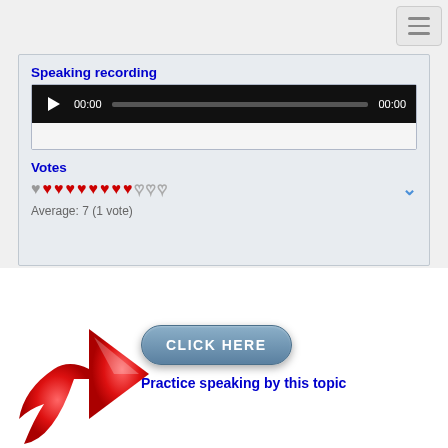[Figure (screenshot): Navigation hamburger menu icon in top right corner]
Speaking recording
[Figure (screenshot): Audio player widget with play button, 00:00 time display, progress bar, and 00:00 duration]
Votes
[Figure (infographic): Heart rating icons: 1 half-filled gray heart, 8 red filled hearts, 3 empty hearts. Chevron down arrow on right.]
Average: 7 (1 vote)
[Figure (illustration): Red arrow pointing right toward a blue-gray CLICK HERE button, with text 'Practice speaking by this topic' in blue below]